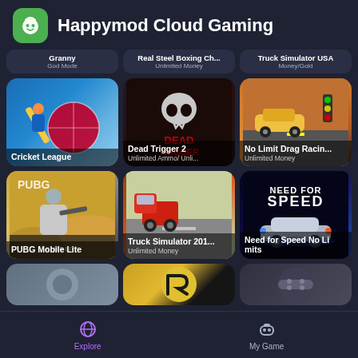Happymod Cloud Gaming
Granny — God Mode
Real Steel Boxing Ch... — Unlimited Money
Truck Simulator USA — Money/Gold
[Figure (screenshot): Cricket League game card]
[Figure (screenshot): Dead Trigger 2 game card — Unlimited Ammo/Unli...]
[Figure (screenshot): No Limit Drag Racin... game card — Unlimited Money]
[Figure (screenshot): PUBG Mobile Lite game card]
[Figure (screenshot): Truck Simulator 201... game card — Unlimited Money]
[Figure (screenshot): Need for Speed No Limits game card]
Explore   My Game